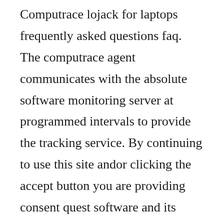Computrace lojack for laptops frequently asked questions faq. The computrace agent communicates with the absolute software monitoring server at programmed intervals to provide the tracking service. By continuing to use this site andor clicking the accept button you are providing consent quest software and its affiliates do not sell the personal data you provide to us either when. Computrace lojack for laptops is a theft protection service that tracks, locates and recovers stolen laptop and desktop computers.
Absolute lojack provides consumers of primarily